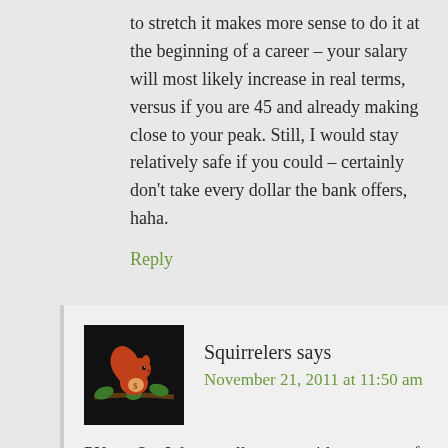to stretch it makes more sense to do it at the beginning of a career – your salary will most likely increase in real terms, versus if you are 45 and already making close to your peak. Still, I would stay relatively safe if you could – certainly don't take every dollar the bank offers, haha.
Reply
Squirrelers says
November 21, 2011 at 11:50 am
[Figure (illustration): Avatar image showing a red squirrel on a branch on a dark/black background]
PKamp3 – I do actually agree with on some of the softer considerations in terms of a home as an investment but